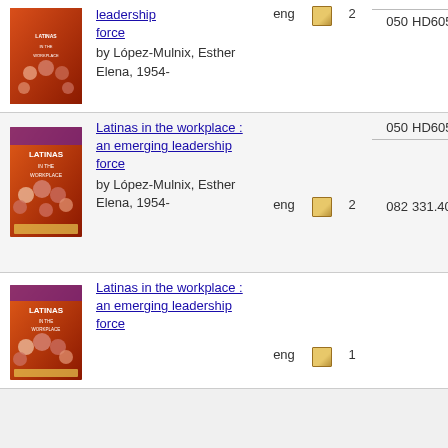Latinas in the workplace : an emerging leadership force by López-Mulnix, Esther Elena, 1954- | eng | 2 | 050 HD6057.5 |
Latinas in the workplace : an emerging leadership force by López-Mulnix, Esther Elena, 1954- | eng | 2 | 050 HD6057.5 | 082 331.40896
Latinas in the workplace : an emerging leadership force | eng | 1